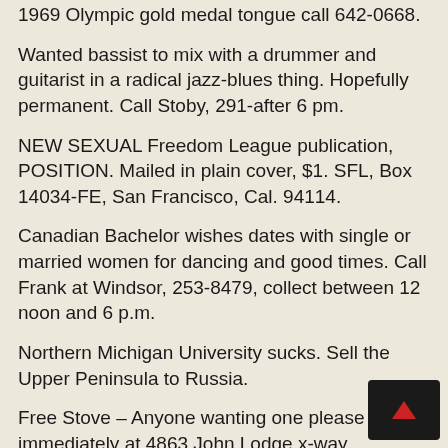1969 Olympic gold medal tongue call 642-0668.
Wanted bassist to mix with a drummer and guitarist in a radical jazz-blues thing. Hopefully permanent. Call Stoby, 291-after 6 pm.
NEW SEXUAL Freedom League publication, POSITION. Mailed in plain cover, $1. SFL, Box 14034-FE, San Francisco, Cal. 94114.
Canadian Bachelor wishes dates with single or married women for dancing and good times. Call Frank at Windsor, 253-8479, collect between 12 noon and 6 p.m.
Northern Michigan University sucks. Sell the Upper Peninsula to Russia.
Free Stove – Anyone wanting one please pick up immediately at 4863 John Lodge x-way.
I'd like to tell the world that I love Nena, but I don't want to embarrass her, so I won't.